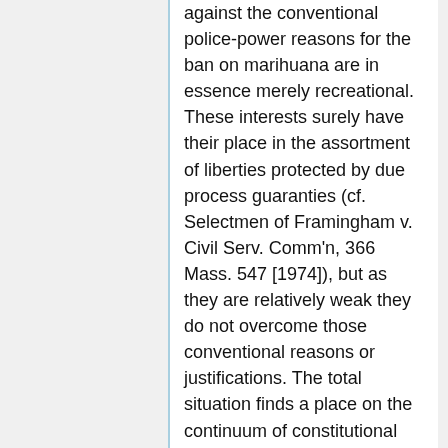against the conventional police-power reasons for the ban on marihuana are in essence merely recreational. These interests surely have their place in the assortment of liberties protected by due process guaranties (cf. Selectmen of Framingham v. Civil Serv. Comm'n, 366 Mass. 547 [1974]), but as they are relatively weak they do not overcome those conventional reasons or justifications. The total situation finds a place on the continuum of constitutional vulnerability (see note 4 supra) where judicial nullification of the proscriptive legislation appears unwarranted.
According to the present pattern of the criminal codes of the States of the Union, the possession of marihuana is illegal. 11 See Soler, Of Cannabis and the Courts: A Critical Examination of